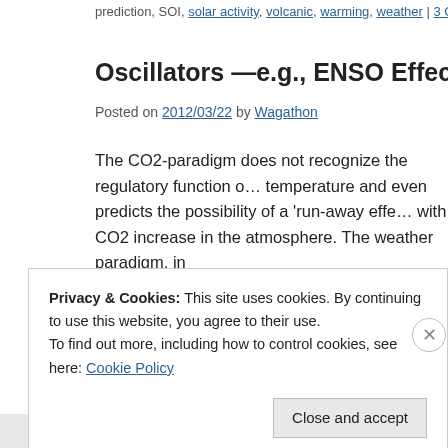prediction, SOI, solar activity, volcanic, warming, weather | 3 Comments
Oscillators —e.g., ENSO Effects and Sola
Posted on 2012/03/22 by Wagathon
The CO2-paradigm does not recognize the regulatory function o... temperature and even predicts the possibility of a 'run-away effe... with CO2 increase in the atmosphere. The weather paradigm, in
→
Posted in The Cultural Hegemony of Climate Superstition | Tagged ENSO, Os... comment
Privacy & Cookies: This site uses cookies. By continuing to use this website, you agree to their use.
To find out more, including how to control cookies, see here: Cookie Policy
Close and accept